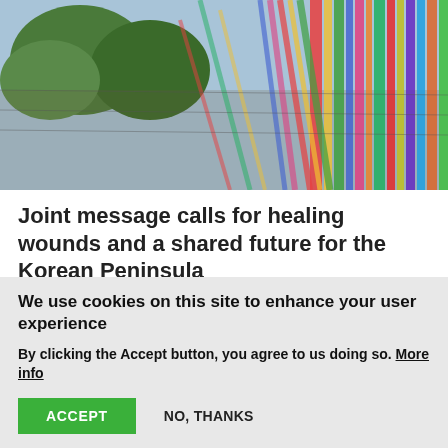[Figure (photo): Colorful ribbons and prayer flags tied to a wire fence, with trees and sky visible in the background. Likely the DMZ or a Korean peace memorial site.]
Joint message calls for healing wounds and a shared future for the Korean Peninsula
A Joint Ecumenical Peace Message for the occasion of the 70th anniversary of the start of the Korean War was publicly delivered on 22 June during a live-
We use cookies on this site to enhance your user experience
By clicking the Accept button, you agree to us doing so. More info
ACCEPT    NO, THANKS